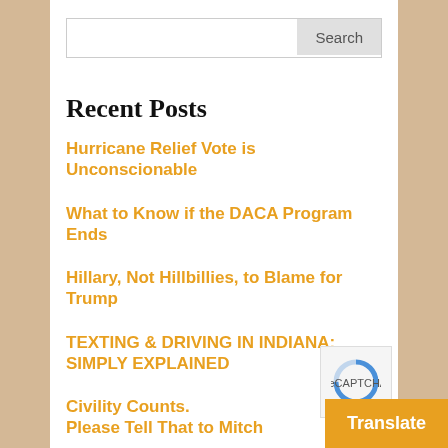Recent Posts
Hurricane Relief Vote is Unconscionable
What to Know if the DACA Program Ends
Hillary, Not Hillbillies, to Blame for Trump
TEXTING & DRIVING IN INDIANA: SIMPLY EXPLAINED
Civility Counts.
Please Tell That to Mitch
Categories
Employment Laws